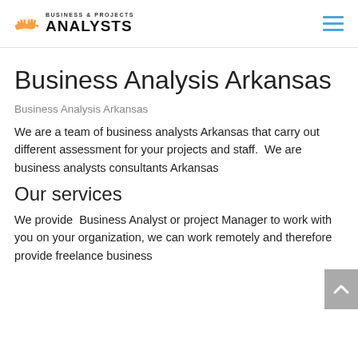BUSINESS & PROJECTS ANALYSTS
Business Analysis Arkansas
Business Analysis Arkansas
We are a team of business analysts Arkansas that carry out different assessment for your projects and staff.  We are business analysts consultants Arkansas
Our services
We provide  Business Analyst or project Manager to work with you on your organization, we can work remotely and therefore provide freelance business